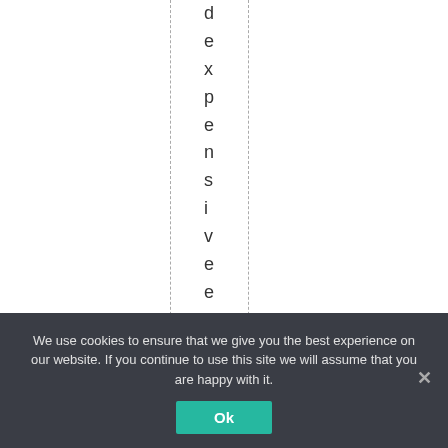dexpensiveelectric
We use cookies to ensure that we give you the best experience on our website. If you continue to use this site we will assume that you are happy with it.
Ok